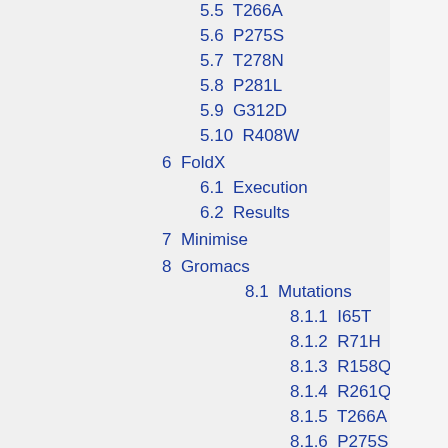5.5 T266A
5.6 P275S
5.7 T278N
5.8 P281L
5.9 G312D
5.10 R408W
6 FoldX
6.1 Execution
6.2 Results
7 Minimise
8 Gromacs
8.1 Mutations
8.1.1 I65T
8.1.2 R71H
8.1.3 R158Q
8.1.4 R261Q
8.1.5 T266A
8.1.6 P275S
8.1.7 T278N
8.1.8 P281L
8.1.9 G312D
8.1.10 R408W